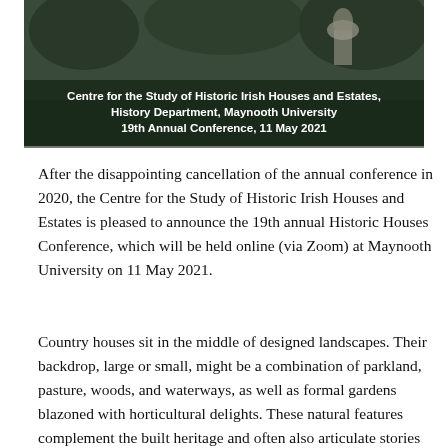[Figure (photo): Black and white photograph of a historic Irish estate with garden urns and grounds. Overlaid white bold text reads: 'Centre for the Study of Historic Irish Houses and Estates, History Department, Maynooth University, 19th Annual Conference, 11 May 2021']
After the disappointing cancellation of the annual conference in 2020, the Centre for the Study of Historic Irish Houses and Estates is pleased to announce the 19th annual Historic Houses Conference, which will be held online (via Zoom) at Maynooth University on 11 May 2021.
Country houses sit in the middle of designed landscapes. Their backdrop, large or small, might be a combination of parkland, pasture, woods, and waterways, as well as formal gardens blazoned with horticultural delights. These natural features complement the built heritage and often also articulate stories about their creating circumstances.